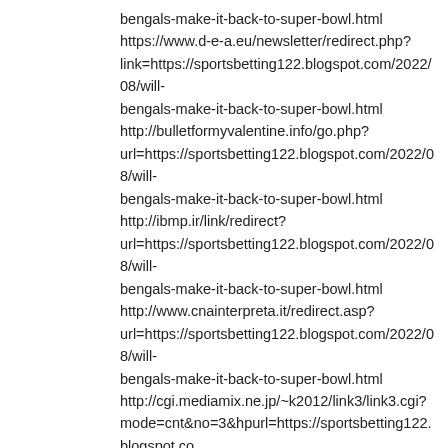bengals-make-it-back-to-super-bowl.html
https://www.d-e-a.eu/newsletter/redirect.php?link=https://sportsbetting122.blogspot.com/2022/08/will-bengals-make-it-back-to-super-bowl.html
http://bulletformyvalentine.info/go.php?url=https://sportsbetting122.blogspot.com/2022/08/will-bengals-make-it-back-to-super-bowl.html
http://ibmp.ir/link/redirect?url=https://sportsbetting122.blogspot.com/2022/08/will-bengals-make-it-back-to-super-bowl.html
http://www.cnainterpreta.it/redirect.asp?url=https://sportsbetting122.blogspot.com/2022/08/will-bengals-make-it-back-to-super-bowl.html
http://cgi.mediamix.ne.jp/~k2012/link3/link3.cgi?mode=cnt&no=3&hpurl=https://sportsbetting122.blogspot.co bengals-make-it-back-to-super-bowl.html
http://www.eroticlinks.net/cgi-bin/atx/out.cgi?id=25&tag=topz&trade=https://sportsbetting122.blogspot.cor bengals-make-it-back-to-super-bowl.html
http://infoholix.net/redirect.php?mld=4263&mWeb=https://sportsbetting122.blogspot.com/20 bengals-make-it-back-to-super-bowl.html
http://www.matatabix.net/out/click3.cgi?